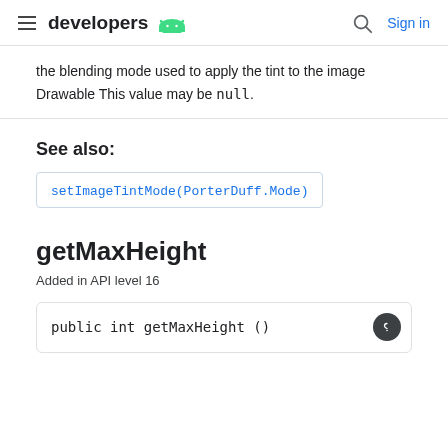developers
the blending mode used to apply the tint to the image Drawable This value may be null.
See also:
setImageTintMode(PorterDuff.Mode)
getMaxHeight
Added in API level 16
public int getMaxHeight ()